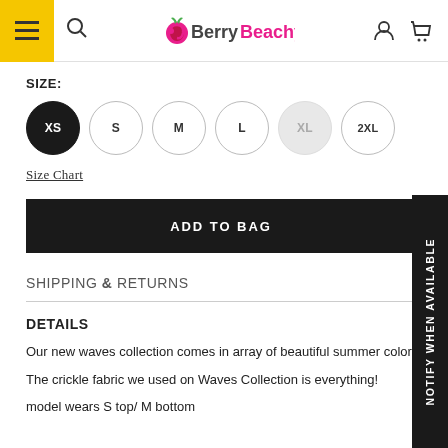[Figure (logo): Berry Beachy brand logo with berry icon and stylized text]
SIZE:
[Figure (infographic): Size selector circles: XS (selected/black), S, M, L, XL (greyed out/unavailable), 2XL]
Size Chart
ADD TO BAG
SHIPPING & RETURNS
DETAILS
Our new waves collection comes in array of beautiful summer colo
The crickle fabric we used on Waves Collection is everything!
model wears S top/ M bottom
NOTIFY WHEN AVAILABLE